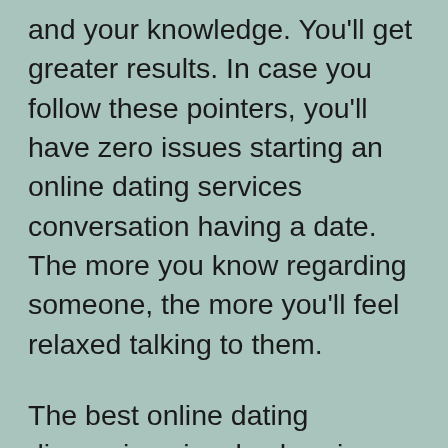and your knowledge. You'll get greater results. In case you follow these pointers, you'll have zero issues starting an online dating services conversation having a date. The more you know regarding someone, the more you'll feel relaxed talking to them.
The best online dating discussions involve hearing the other person. Need not afraid to speak up if you're uncomfortable or disappointed. You won't trash the relationship, so you should locate someone who is going to listen to you and encourage one to be your self. If you're uncomfortable with the additional